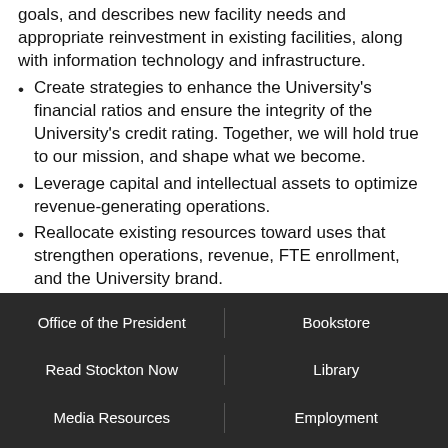goals, and describes new facility needs and appropriate reinvestment in existing facilities, along with information technology and infrastructure.
Create strategies to enhance the University's financial ratios and ensure the integrity of the University's credit rating. Together, we will hold true to our mission, and shape what we become.
Leverage capital and intellectual assets to optimize revenue-generating operations.
Reallocate existing resources toward uses that strengthen operations, revenue, FTE enrollment, and the University brand.
Maintain and routinely test a multi-year financial planning model.
Office of the President   Bookstore   Read Stockton Now   Library   Media Resources   Employment